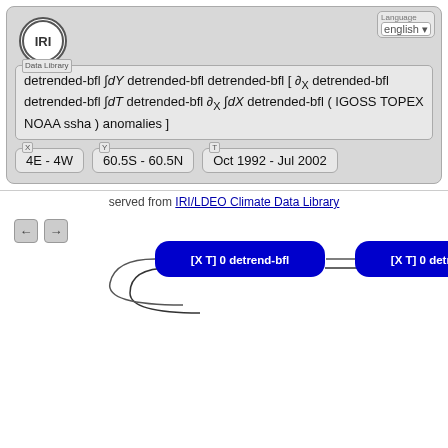[Figure (screenshot): IRI Data Library web interface screenshot showing a query expression with partial derivatives and integrals, axis range selectors (X: 4E-4W, Y: 60.5S-60.5N, T: Oct 1992 - Jul 2002), a flowchart of data processing steps (detrend-bfl, partial, yearly-anomalies, differences, integrate operations), and navigation controls.]
detrended-bfl ∫dY detrended-bfl detrended-bfl [ ∂X detrended-bfl detrended-bfl ∫dT detrended-bfl ∂X ∫dX detrended-bfl ( IGOSS TOPEX NOAA ssha ) anomalies ]
4E - 4W
60.5S - 60.5N
Oct 1992 - Jul 2002
served from IRI/LDEO Climate Data Library
[X T] 0 detrend-bfl
[X T] 0 detrend-bfl
[X] partial
yearly-anomalies
[X Y] 0 detrend-bfl
[X T] 0 detrend-bfl
[Y] differences
0 0 [Y] integrate